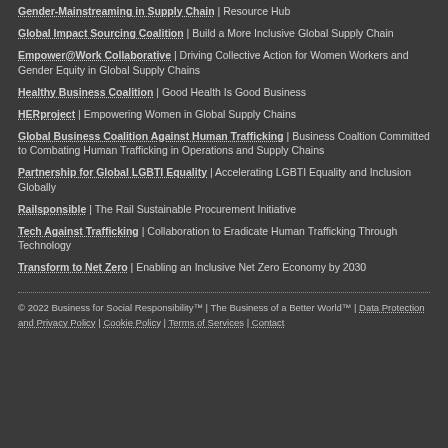Gender-Mainstreaming in Supply Chain | Resource Hub
Global Impact Sourcing Coalition | Build a More Inclusive Global Supply Chain
Empower@Work Collaborative | Driving Collective Action for Women Workers and Gender Equity in Global Supply Chains
Healthy Business Coalition | Good Health Is Good Business
HERproject | Empowering Women in Global Supply Chains
Global Business Coalition Against Human Trafficking | Business Coaltion Committed to Combating Human Trafficking in Operations and Supply Chains
Partnership for Global LGBTI Equality | Accelerating LGBTI Equality and Inclusion Globally
Railsponsible | The Rail Sustainable Procurement Initiative
Tech Against Trafficking | Collaboration to Eradicate Human Trafficking Through Technology
Transform to Net Zero | Enabling an Inclusive Net Zero Economy by 2030
© 2022 Business for Social Responsibility™ | The Business of a Better World™ | Data Protection and Privacy Policy | Cookie Policy | Terms of Services | Contact